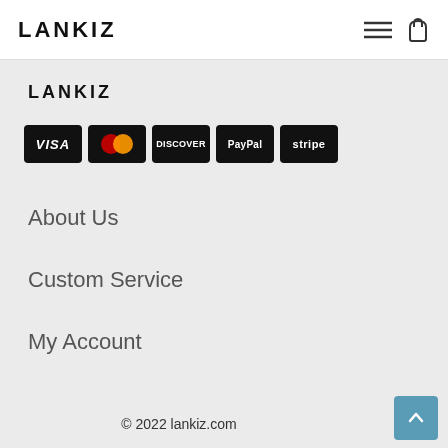LANKIZ
[Figure (logo): LANKIZ brand logo in footer section]
[Figure (infographic): Payment method badges: VISA, Mastercard, DISCOVER, PayPal, stripe]
About Us
Custom Service
My Account
© 2022 lankiz.com